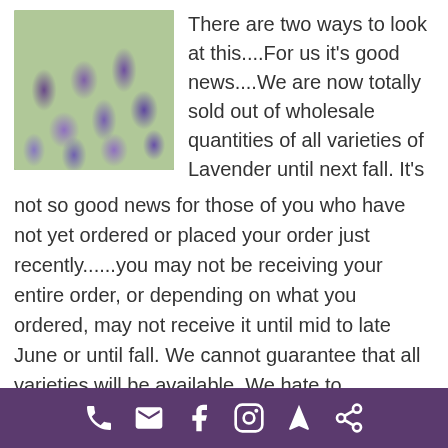[Figure (photo): Rows of lavender plants in a field, showing purple and light-colored lavender bushes]
There are two ways to look at this....For us it's good news....We are now totally sold out of wholesale quantities of all varieties of Lavender until next fall. It's not so good news for those of you who have not yet ordered or placed your order just recently......you may not be receiving your entire order, or depending on what you ordered, may not receive it until mid to late June or until fall. We cannot guarantee that all varieties will be available. We hate to disappoint any of you by not being able to supply the plants you were hoping for but once
Phone, Email, Facebook, Instagram, Navigation, Share icons